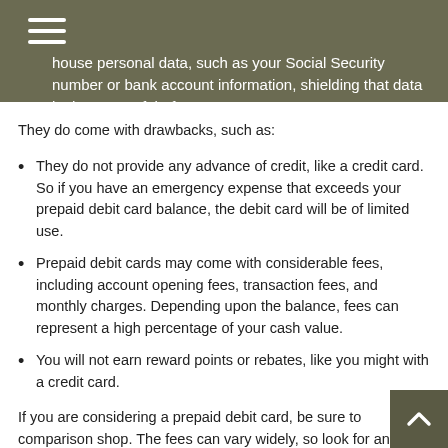house personal data, such as your Social Security number or bank account information, shielding that data in the event of theft.
They do come with drawbacks, such as:
They do not provide any advance of credit, like a credit card. So if you have an emergency expense that exceeds your prepaid debit card balance, the debit card will be of limited use.
Prepaid debit cards may come with considerable fees, including account opening fees, transaction fees, and monthly charges. Depending upon the balance, fees can represent a high percentage of your cash value.
You will not earn reward points or rebates, like you might with a credit card.
If you are considering a prepaid debit card, be sure to comparison shop. The fees can vary widely, so look for an appropriate card. And keep yourself informed about your